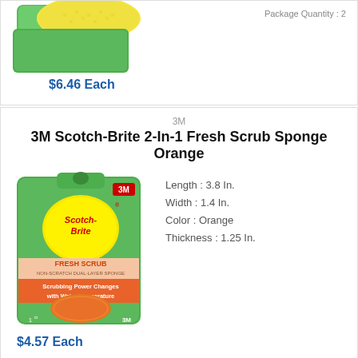[Figure (photo): Scotch-Brite sponge product image (green/yellow sponge) from previous product listing, partially visible at top of page]
Package Quantity : 2
$6.46 Each
3M
3M Scotch-Brite 2-In-1 Fresh Scrub Sponge Orange
[Figure (photo): Scotch-Brite Fresh Scrub sponge product in green retail packaging showing orange sponge, with text 'Scrubbing Power Changes with Water Temperature', 1 sponge, 3M brand]
Length : 3.8 In.
Width : 1.4 In.
Color : Orange
Thickness : 1.25 In.
$4.57 Each